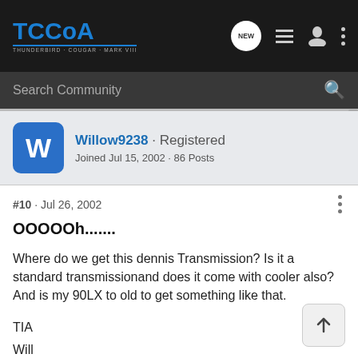TCCoA - THUNDERBIRD · COUGAR · MARK VIII
Search Community
Willow9238 · Registered
Joined Jul 15, 2002 · 86 Posts
#10 · Jul 26, 2002
OOOOOh.......
Where do we get this dennis Transmission? Is it a standard transmissionand does it come with cooler also? And is my 90LX to old to get something like that.
TIA
Will
One Love Hawaii